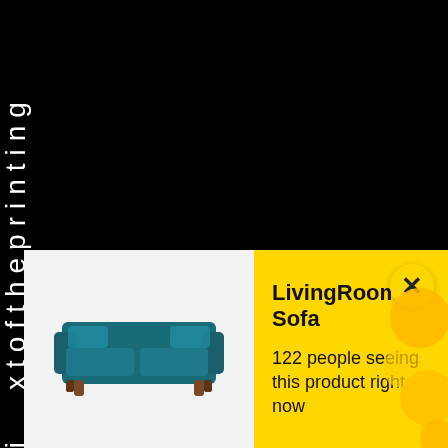x t o f t h e p r i n t i n g
[Figure (screenshot): Product notification banner for LivingRoom Sofa showing a teal sofa image on light background, yellow notification panel with title 'LivingRoom Sofa', text '122 people seeing this product right now', a close X button, and decorative yellow bubbles on the right side.]
LivingRoom Sofa
122 people seeing this product right now
j